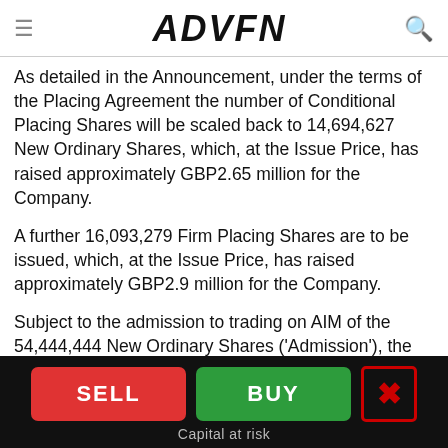ADVFN
As detailed in the Announcement, under the terms of the Placing Agreement the number of Conditional Placing Shares will be scaled back to 14,694,627 New Ordinary Shares, which, at the Issue Price, has raised approximately GBP2.65 million for the Company.
A further 16,093,279 Firm Placing Shares are to be issued, which, at the Issue Price, has raised approximately GBP2.9 million for the Company.
Subject to the admission to trading on AIM of the 54,444,444 New Ordinary Shares ('Admission'), the Company will have raised a total of approximately GBP9.8 million (before expenses) as a result of the Fundraising.
SELL  BUY  Capital at risk